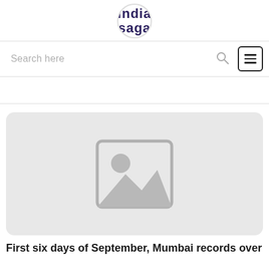india saga
Search here
[Figure (photo): Placeholder image with mountain and sun icon on light grey background]
First six days of September, Mumbai records over